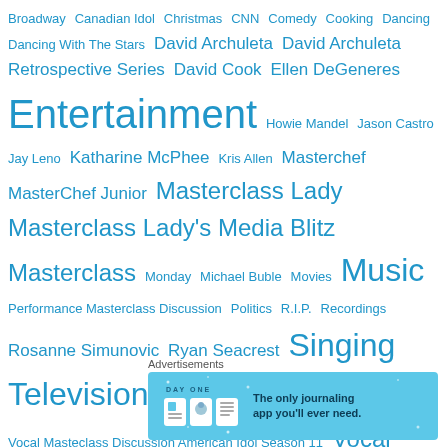Broadway  Canadian Idol  Christmas  CNN  Comedy  Cooking  Dancing  Dancing With The Stars  David Archuleta  David Archuleta Retrospective Series  David Cook  Ellen DeGeneres  Entertainment  Howie Mandel  Jason Castro  Jay Leno  Katharine McPhee  Kris Allen  Masterchef  MasterChef Junior  Masterclass Lady  Masterclass Lady's Media Blitz  Masterclass Monday  Michael Buble  Movies  Music  Performance Masterclass Discussion  Politics  R.I.P.  Recordings  Rosanne Simunovic  Ryan Seacrest  Singing  Television  The Voice  The X Factor  TV Series  Videos  Vocal Masteclass Discussion American Idol Season 11  Vocal Masterclass Articles  Vocal Masterclass Articles Season 8  Vocal Masterclass Articles Season 9  Vocal Masterclass Articles Season 10  Vocal Masterclass Discussion  Vocal Masterclass Discussion For American Idol Season 8  Vocal Masterclass Discussio...
Advertisements
[Figure (other): Advertisement banner for DAY ONE journaling app with slogan 'The only journaling app you'll ever need.' showing app icons on a blue background.]